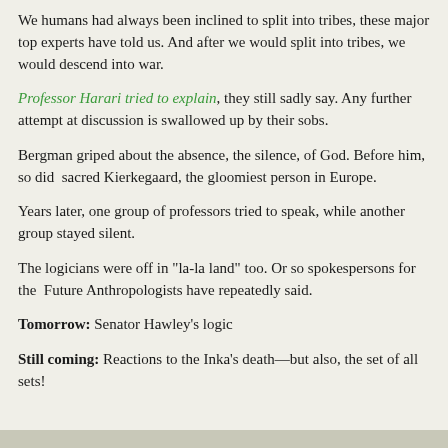We humans had always been inclined to split into tribes, these major top experts have told us. And after we would split into tribes, we would descend into war.
Professor Harari tried to explain, they still sadly say. Any further attempt at discussion is swallowed up by their sobs.
Bergman griped about the absence, the silence, of God. Before him, so did  sacred Kierkegaard, the gloomiest person in Europe.
Years later, one group of professors tried to speak, while another group stayed silent.
The logicians were off in "la-la land" too. Or so spokespersons for the  Future Anthropologists have repeatedly said.
Tomorrow: Senator Hawley's logic
Still coming: Reactions to the Inka's death—but also, the set of all sets!